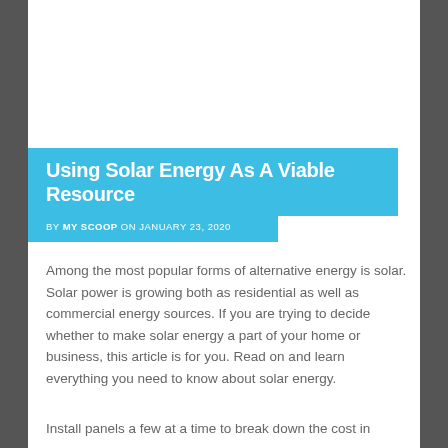Using Solar Energy As A Viable Resource
BY MY SCOOP ON JANUARY 23, 2020
Among the most popular forms of alternative energy is solar. Solar power is growing both as residential as well as commercial energy sources. If you are trying to decide whether to make solar energy a part of your home or business, this article is for you. Read on and learn everything you need to know about solar energy.
Install panels a few at a time to break down the cost in